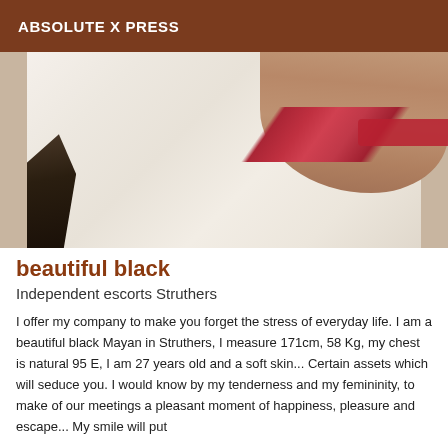ABSOLUTE X PRESS
[Figure (photo): Partial photo of a person lying on white bedding, wearing a red bra, with skin visible in upper right area and a dark object in lower left.]
beautiful black
Independent escorts Struthers
I offer my company to make you forget the stress of everyday life. I am a beautiful black Mayan in Struthers, I measure 171cm, 58 Kg, my chest is natural 95 E, I am 27 years old and a soft skin... Certain assets which will seduce you. I would know by my tenderness and my femininity, to make of our meetings a pleasant moment of happiness, pleasure and escape... My smile will put